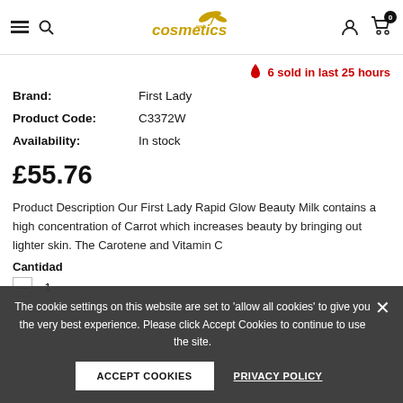cosmetics web — navigation header with hamburger, search, logo, user icon, cart (0)
🔥 6 sold in last 25 hours
Brand: First Lady
Product Code: C3372W
Availability: In stock
£55.76
Product Description Our First Lady Rapid Glow Beauty Milk contains a high concentration of Carrot which increases beauty by bringing out lighter skin. The Carotene and Vitamin C
Cantidad
The cookie settings on this website are set to 'allow all cookies' to give you the very best experience. Please click Accept Cookies to continue to use the site.
ACCEPT COOKIES
PRIVACY POLICY